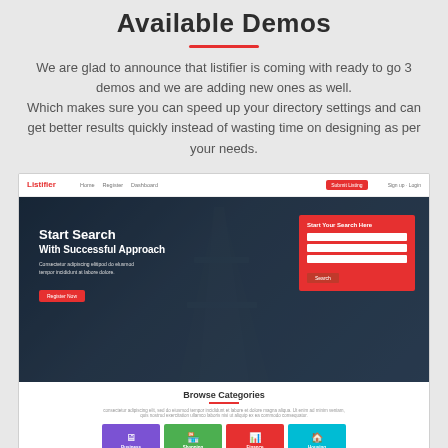Available Demos
We are glad to announce that listifier is coming with ready to go 3 demos and we are adding new ones as well.
Which makes sure you can speed up your directory settings and can get better results quickly instead of wasting time on designing as per your needs.
[Figure (screenshot): Screenshot of the Listifier website demo showing a navbar with logo and navigation links, a hero section with Eiffel Tower background image, 'Start Search With Successful Approach' headline, search form, and Browse Categories section with colorful category tiles.]